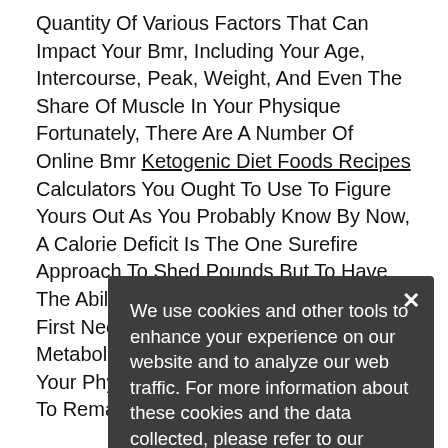Quantity Of Various Factors That Can Impact Your Bmr, Including Your Age, Intercourse, Peak, Weight, And Even The Share Of Muscle In Your Physique Fortunately, There Are A Number Of Online Bmr Ketogenic Diet Foods Recipes Calculators You Ought To Use To Figure Yours Out As You Probably Know By Now, A Calorie Deficit Is The One Surefire Approach To Shed Pounds But To Have The Ability To Create The Deficit, You May First Need To Calculate Your Basal Metabolic Fee Or The Number Of Calories Your Physique Burns At Relaxation Merely To Remain Alive.

While Many Of Those Diets Could Help You To Shed Weight While You Re Following Them, As Quickly As You Resume Your Usual Lifestyle, The Load Begins To Creep Again On That S As A End Result Of Losing Weight Isn T Necessarily The Problem, It S Longer Term That S Troublesome Goldstein Exhibits That Even Small Amounts Of Weight loss...
We use cookies and other tools to enhance your experience on our website and to analyze our web traffic. For more information about these cookies and the data collected, please refer to our Privacy Policy.